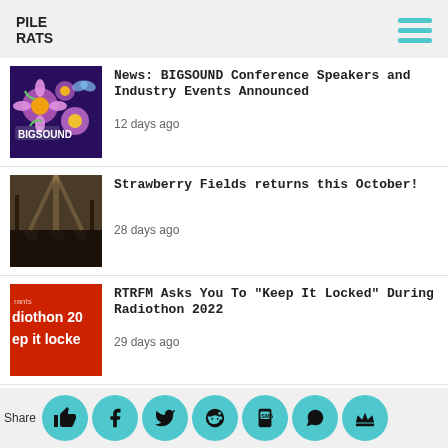PILE RATS
News: BIGSOUND Conference Speakers and Industry Events Announced
12 days ago
Strawberry Fields returns this October!
28 days ago
RTRFM Asks You To "Keep It Locked" During Radiothon 2022
29 days ago
News: BIGSOUND Unveils Stacked 2022 Line-Up
Share